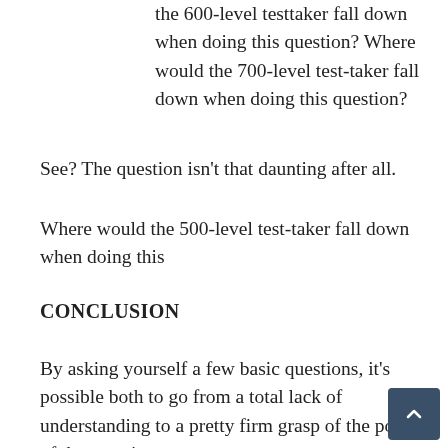the 600-level testtaker fall down when doing this question? Where would the 700-level test-taker fall down when doing this question?
See? The question isn't that daunting after all.
Where would the 500-level test-taker fall down when doing this
CONCLUSION
By asking yourself a few basic questions, it's possible both to go from a total lack of understanding to a pretty firm grasp of the point of the question.